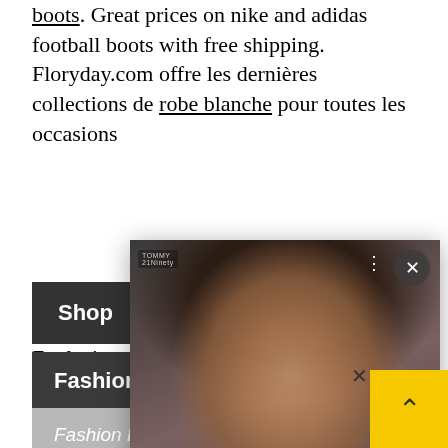boots. Great prices on nike and adidas football boots with free shipping. Floryday.com offre les dernières collections de robe blanche pour toutes les occasions
Exclusive re...
[Figure (photo): Popup overlay showing a close-up photo of Serena Williams with scroll bar indicator, watermark logo, close X button, three-dots menu, and a forward arrow button]
The GOAT, Serena Williams Brings Glitz, Glam & Game To The US Open - 21Ninety
Shop
Fashion Bombshells
Fashion Bombshell of the Day